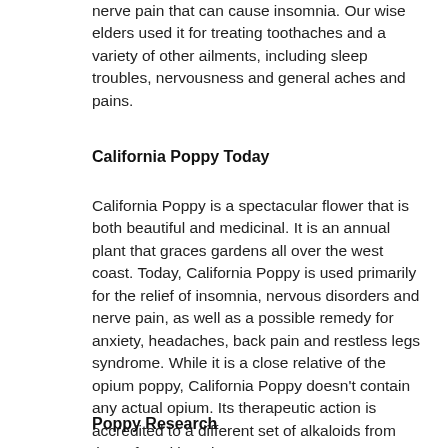nerve pain that can cause insomnia. Our wise elders used it for treating toothaches and a variety of other ailments, including sleep troubles, nervousness and general aches and pains.
California Poppy Today
California Poppy is a spectacular flower that is both beautiful and medicinal. It is an annual plant that graces gardens all over the west coast. Today, California Poppy is used primarily for the relief of insomnia, nervous disorders and nerve pain, as well as a possible remedy for anxiety, headaches, back pain and restless legs syndrome. While it is a close relative of the opium poppy, California Poppy doesn't contain any actual opium. Its therapeutic action is accredited to a different set of alkaloids from those found in opium.
Poppy Research